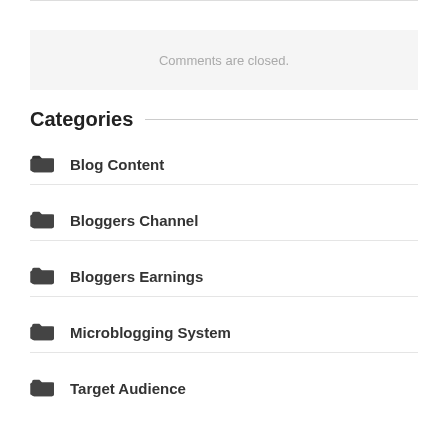Comments are closed.
Categories
Blog Content
Bloggers Channel
Bloggers Earnings
Microblogging System
Target Audience
content technology  important part  improve system  media content  media pages  microblogging site  news reported  news site  oakland news